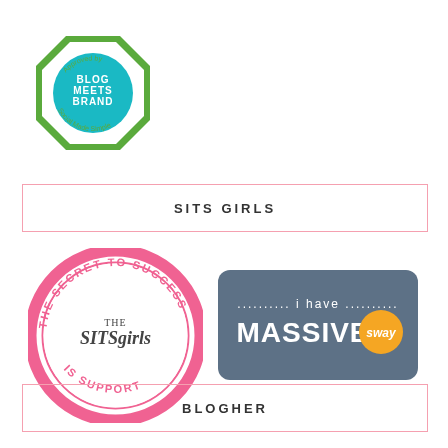[Figure (logo): Blog Meets Brand approved badge - octagon shape with green border, teal circle center, white text 'Approved by BLOG MEETS BRAND Social Made Simple']
SITS GIRLS
[Figure (logo): The SITSgirls circular stamp logo in pink - 'THE SECRET TO SUCCESS IS SUPPORT' around the border, 'THE SITSgirls' in center]
[Figure (logo): i have MASSIVE sway badge - dark blue-gray rounded rectangle with white text 'i have MASSIVE' and orange circle with white text 'sway']
BLOGHER